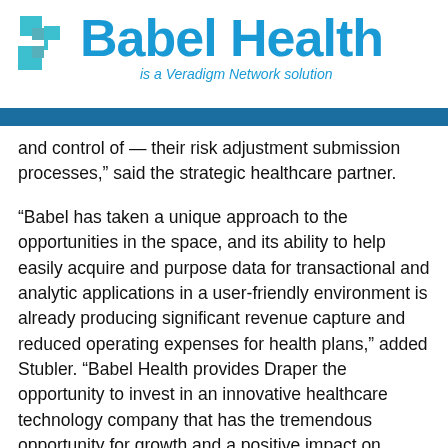[Figure (logo): Babel Health logo with teal/blue arrows icon and 'Babel Health is a Veradigm Network solution' text]
and control of — their risk adjustment submission processes,” said the strategic healthcare partner.
“Babel has taken a unique approach to the opportunities in the space, and its ability to help easily acquire and purpose data for transactional and analytic applications in a user-friendly environment is already producing significant revenue capture and reduced operating expenses for health plans,” added Stubler. “Babel Health provides Draper the opportunity to invest in an innovative healthcare technology company that has the tremendous opportunity for growth and a positive impact on controlling costs in the U.S. healthcare market.”